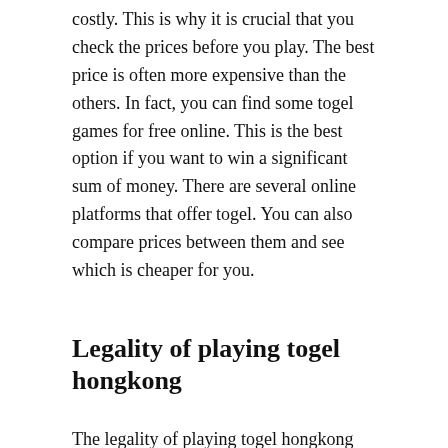costly. This is why it is crucial that you check the prices before you play. The best price is often more expensive than the others. In fact, you can find some togel games for free online. This is the best option if you want to win a significant sum of money. There are several online platforms that offer togel. You can also compare prices between them and see which is cheaper for you.
Legality of playing togel hongkong
The legality of playing togel hongkong depends on the rules and regulations of your country. Although there are some countries that outlaw lotteries, Hong Kong does not. Many countries regulate or promote lotteries, making it possible for people to play for